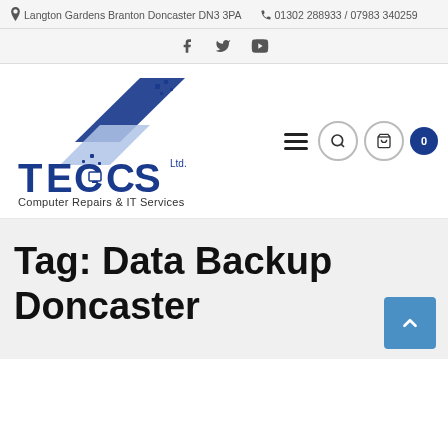Langton Gardens Branton Doncaster DN3 3PA   01302 288933 / 07983 340259
[Figure (logo): TECCS Ltd. Computer Repairs & IT Services logo with blue angled paper/document graphic and blue stylized company name text]
Tag: Data Backup Doncaster